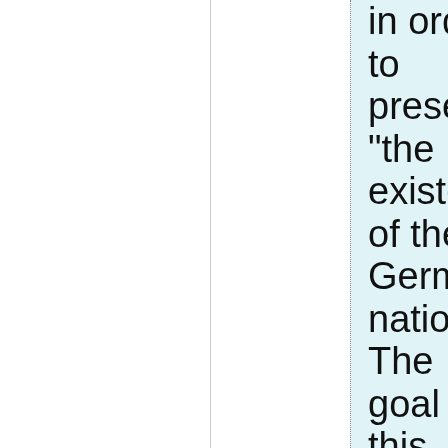in order to preserve “the existence of the German nation.” The goal of this new education system was to “mould the Germans into a corporate